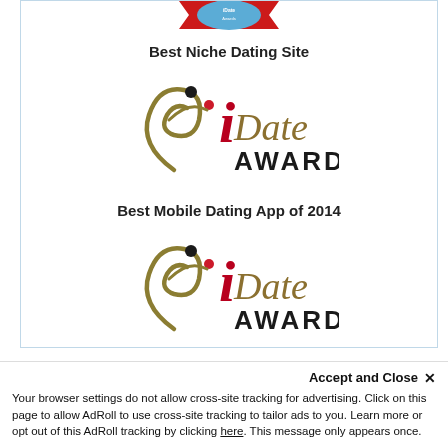[Figure (logo): Partial award badge/ribbon at top (red and blue)]
Best Niche Dating Site
[Figure (logo): iDate Awards logo - stylized figure with laurel, 'i' in red/crimson, 'Date' in gold italic script, 'AWARDS' in black]
Best Mobile Dating App of 2014
[Figure (logo): iDate Awards logo - stylized figure with laurel, 'i' in red/crimson, 'Date' in gold italic script, 'AWARDS' in black]
Accept and Close ✕
Your browser settings do not allow cross-site tracking for advertising. Click on this page to allow AdRoll to use cross-site tracking to tailor ads to you. Learn more or opt out of this AdRoll tracking by clicking here. This message only appears once.